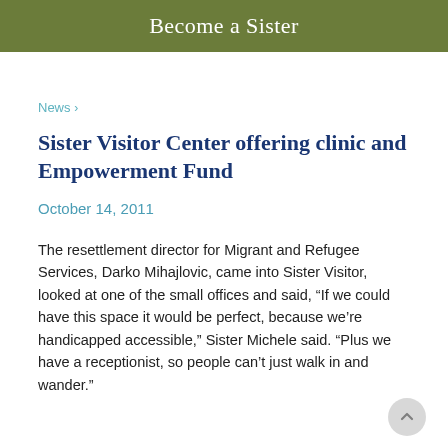Become a Sister
News >
Sister Visitor Center offering clinic and Empowerment Fund
October 14, 2011
The resettlement director for Migrant and Refugee Services, Darko Mihajlovic, came into Sister Visitor, looked at one of the small offices and said, “If we could have this space it would be perfect, because we’re handicapped accessible,” Sister Michele said. “Plus we have a receptionist, so people can’t just walk in and wander.”